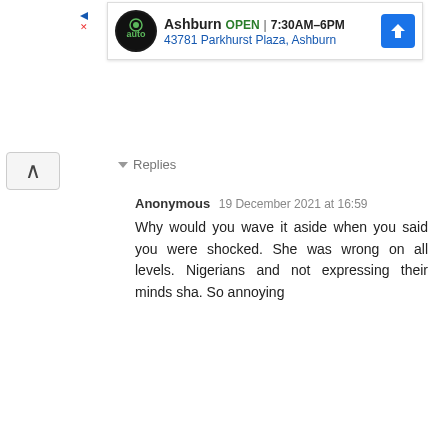[Figure (screenshot): Advertisement banner for Ashburn auto service: logo, OPEN badge, hours 7:30AM-6PM, address 43781 Parkhurst Plaza Ashburn, navigation arrow icon]
Replies
Anonymous  19 December 2021 at 16:59
Why would you wave it aside when you said you were shocked. She was wrong on all levels. Nigerians and not expressing their minds sha. So annoying
Reply
excited courtesy  18 December 2021 at 15:56
[Figure (screenshot): Advertisement banner for Ashburn auto service: logo, OPEN badge, hours 7:30AM-6PM, address 43781 Parkhurst Plaza Ashburn, navigation arrow icon]